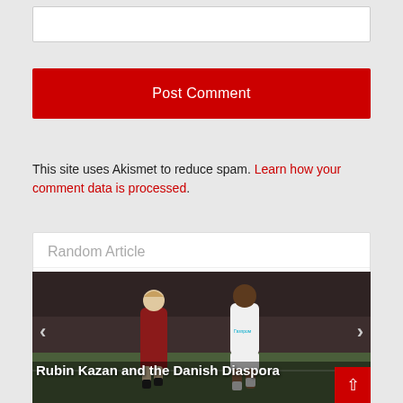[Figure (other): Empty text input box]
Post Comment
This site uses Akismet to reduce spam. Learn how your comment data is processed.
Random Article
[Figure (photo): Two soccer players — one in dark red jersey, one in white Zenit jersey — running during a match. Caption reads: Rubin Kazan and the Danish Diaspora]
Rubin Kazan and the Danish Diaspora